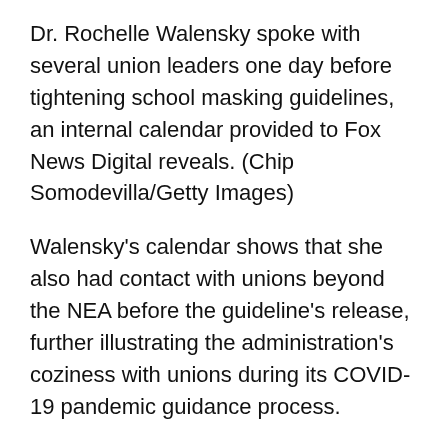Dr. Rochelle Walensky spoke with several union leaders one day before tightening school masking guidelines, an internal calendar provided to Fox News Digital reveals. (Chip Somodevilla/Getty Images)
Walensky's calendar shows that she also had contact with unions beyond the NEA before the guideline's release, further illustrating the administration's coziness with unions during its COVID-19 pandemic guidance process.
“At every turn, the CDC has told the American people that they have followed the science, but with every record we receive, we see further proof that the CDC keeps turning to teachers unions for guidance instead,” said Caitlin